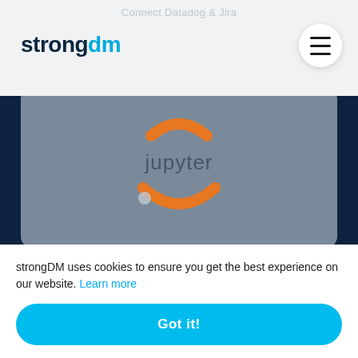Connect Datadog & Jira
[Figure (logo): strongDM logo with hamburger menu icon]
[Figure (illustration): Jupyter notebook logo on grey card background]
Connect Datadog & Jupyter
[Figure (illustration): Kubernetes logo on grey card background]
strongDM uses cookies to ensure you get the best experience on our website. Learn more
Got it!